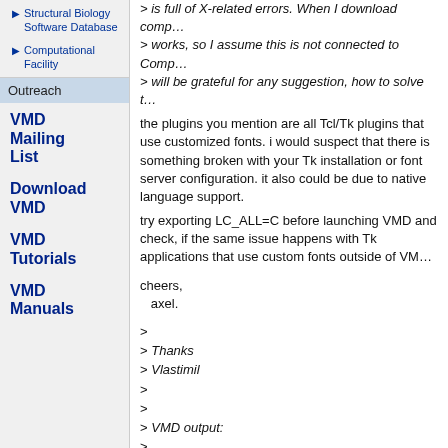Structural Biology Software Database
Computational Facility
Outreach
VMD Mailing List
Download VMD
VMD Tutorials
VMD Manuals
> is full of X-related errors. When I download comp...
> works, so I assume this is not connected to Comp...
> will be grateful for any suggestion, how to solve t...
the plugins you mention are all Tcl/Tk plugins that use customized fonts. i would suspect that there is something broken with your Tk installation or font server configuration. it also could be due to native language support.
try exporting LC_ALL=C before launching VMD and check, if the same issue happens with Tk applications that use custom fonts outside of VM...
cheers,
   axel.
>
> Thanks
> Vlastimil
>
>
> VMD output:
>
> Info) VMD for LINUX, version 1.9.1 (February 7, ...
> Info) http://www.ks.uiuc.edu/Research/vmd/
> Info) Email questions and bug reports to vmd_at...
> Info) Please include this reference in published w...
> Info)   Humphrey W., Dalke A. and Schulten K...